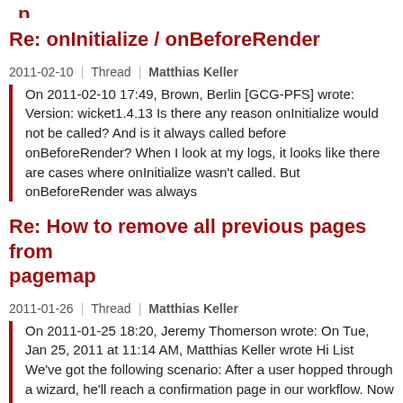Re: onInitialize / onBeforeRender
2011-02-10  |  Thread  |  Matthias Keller
On 2011-02-10 17:49, Brown, Berlin [GCG-PFS] wrote: Version: wicket1.4.13 Is there any reason onInitialize would not be called? And is it always called before onBeforeRender? When I look at my logs, it looks like there are cases where onInitialize wasn't called. But onBeforeRender was always
Re: How to remove all previous pages from pagemap
2011-01-26  |  Thread  |  Matthias Keller
On 2011-01-25 18:20, Jeremy Thomerson wrote: On Tue, Jan 25, 2011 at 11:14 AM, Matthias Keller wrote Hi List We've got the following scenario: After a user hopped through a wizard, he'll reach a confirmation page in our workflow. Now the session still needs to remain active but I want
Re: How to remove all previous pages from pagemap